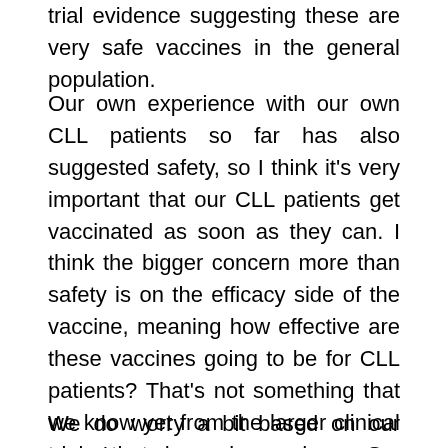trial evidence suggesting these are very safe vaccines in the general population.
Our own experience with our own CLL patients so far has also suggested safety, so I think it's very important that our CLL patients get vaccinated as soon as they can. I think the bigger concern more than safety is on the efficacy side of the vaccine, meaning how effective are these vaccines going to be for CLL patients? That's not something that we know yet from the larger clinical trials that have been done. So, those numbers you see quoted, 95 percent protective, that's in the general populations.
We do worry a bit based on our experience